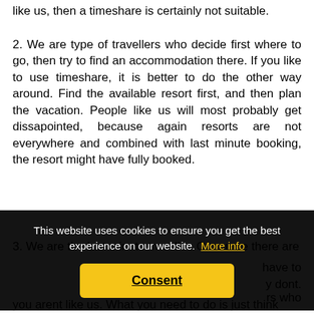like us, then a timeshare is certainly not suitable.
2. We are type of travellers who decide first where to go, then try to find an accommodation there. If you like to use timeshare, it is better to do the other way around. Find the available resort first, and then plan the vacation. People like us will most probably get dissapointed, because again resorts are not everywhere and combined with last minute booking, the resort might have fully booked.
3. We are the last minute traveller. Of course there are ... have to ... y dont.
This website uses cookies to ensure you get the best experience on our website. More info
Consent
rs who ... eshare ... hink, if you arent like us. What you need to do is just think